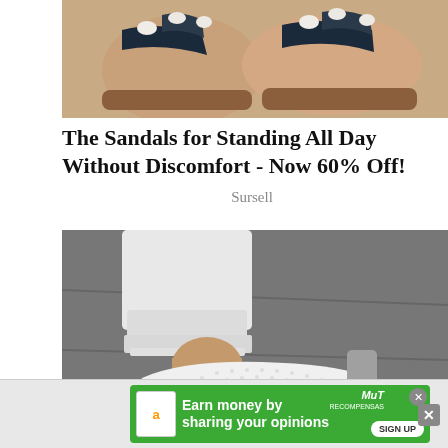[Figure (photo): Close-up of feet wearing dark navy/black flip-flop sandals with brown sole, on a beige/tan background]
The Sandals for Standing All Day Without Discomfort - Now 60% Off!
Sursell
[Figure (photo): Person wearing white jeans and white perforated slip-on sneakers with tan/brown trim and white platform sole, standing on a dark surface]
[Figure (infographic): Advertisement banner: green background with Amazon icon, text 'Earn money by sharing your opinions', with MuT Recompensas logo and SIGN UP button]